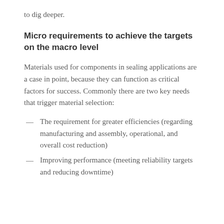to dig deeper.
Micro requirements to achieve the targets on the macro level
Materials used for components in sealing applications are a case in point, because they can function as critical factors for success. Commonly there are two key needs that trigger material selection:
The requirement for greater efficiencies (regarding manufacturing and assembly, operational, and overall cost reduction)
Improving performance (meeting reliability targets and reducing downtime)